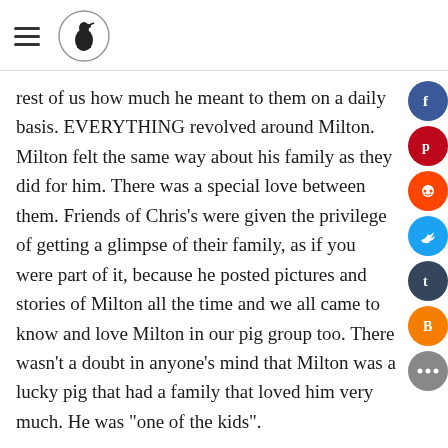[hamburger menu icon] [logo: bird in circle]
rest of us how much he meant to them on a daily basis. EVERYTHING revolved around Milton. Milton felt the same way about his family as they did for him. There was a special love between them. Friends of Chris's were given the privilege of getting a glimpse of their family, as if you were part of it, because he posted pictures and stories of Milton all the time and we all came to know and love Milton in our pig group too. There wasn't a doubt in anyone's mind that Milton was a lucky pig that had a family that loved him very much. He was "one of the kids".
They were in the process of moving, Milton was about to be a super lucky pig because they were moving close to the beach and he would have a whole ocean as his playground. Theeferenda "friends" had to see that...